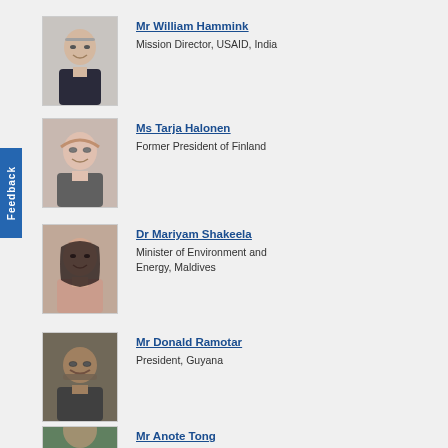[Figure (photo): Portrait photo of Mr William Hammink, older white male in suit]
Mr William Hammink
Mission Director, USAID, India
[Figure (photo): Portrait photo of Ms Tarja Halonen, woman with glasses]
Ms Tarja Halonen
Former President of Finland
[Figure (photo): Portrait photo of Dr Mariyam Shakeela, woman with dark hair]
Dr Mariyam Shakeela
Minister of Environment and Energy, Maldives
[Figure (photo): Portrait photo of Mr Donald Ramotar, man with beard and glasses]
Mr Donald Ramotar
President, Guyana
[Figure (photo): Portrait photo of Mr Anote Tong, partial view]
Mr Anote Tong